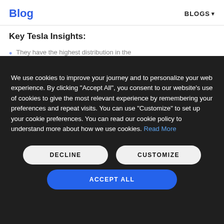Blog | BLOGS
Key Tesla Insights:
They have the highest distribution in the
We use cookies to improve your journey and to personalize your web experience. By clicking "Accept All", you consent to our website's use of cookies to give the most relevant experience by remembering your preferences and repeat visits. You can use "Customize" to set up your cookie preferences. You can read our cookie policy to understand more about how we use cookies. Read More